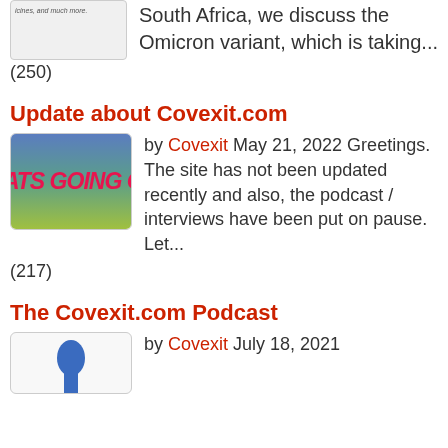[Figure (screenshot): Partial thumbnail image, cropped at top, text partially visible reading 'icines, and much more.']
South Africa, we discuss the Omicron variant, which is taking...
(250)
Update about Covexit.com
[Figure (illustration): Gradient image with blue-to-green gradient background and red bold italic text reading 'ATS GOING O' (partially cropped)]
by Covexit May 21, 2022 Greetings. The site has not been updated recently and also, the podcast / interviews have been put on pause. Let...
(217)
The Covexit.com Podcast
[Figure (photo): Partial image showing a blue object at bottom, cropped]
by Covexit July 18, 2021